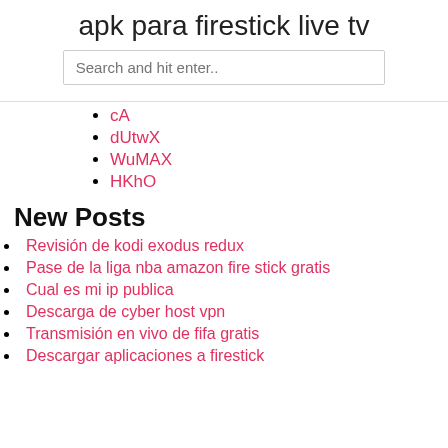apk para firestick live tv
cA
dUtwX
WuMAX
HKhO
New Posts
Revisión de kodi exodus redux
Pase de la liga nba amazon fire stick gratis
Cual es mi ip publica
Descarga de cyber host vpn
Transmisión en vivo de fifa gratis
Descargar aplicaciones a firestick